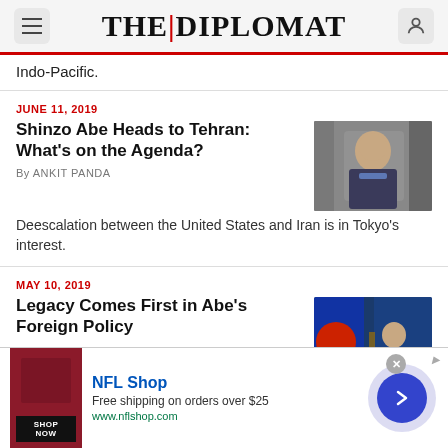THE|DIPLOMAT
Indo-Pacific.
JUNE 11, 2019
Shinzo Abe Heads to Tehran: What's on the Agenda?
By ANKIT PANDA
[Figure (photo): Photo of Shinzo Abe at a press event, smiling in a suit with a camera in background]
Deescalation between the United States and Iran is in Tokyo's interest.
MAY 10, 2019
Legacy Comes First in Abe's Foreign Policy
[Figure (photo): Photo of Shinzo Abe at a podium with Japanese flag behind him]
[Figure (advertisement): NFL Shop advertisement: Free shipping on orders over $25, www.nflshop.com, Shop Now button]